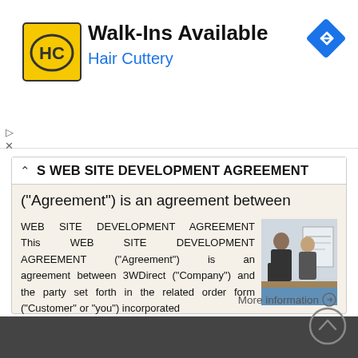[Figure (screenshot): Advertisement banner for Hair Cuttery salon showing logo, Walk-Ins Available text, and navigation arrow icon]
S WEB SITE DEVELOPMENT AGREEMENT
("Agreement") is an agreement between
WEB SITE DEVELOPMENT AGREEMENT This WEB SITE DEVELOPMENT AGREEMENT ("Agreement") is an agreement between 3WDirect ("Company") and the party set forth in the related order form ("Customer" or "you") incorporated
More information →